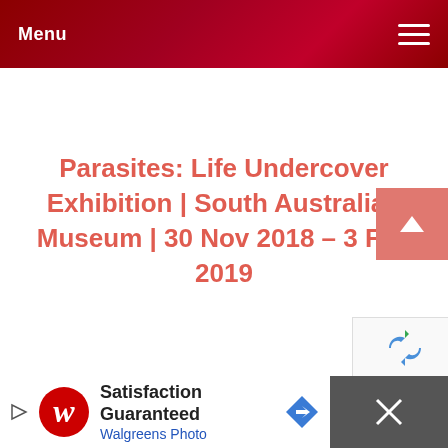Menu
Parasites: Life Undercover Exhibition | South Australian Museum | 30 Nov 2018 – 3 Feb 2019
[Figure (screenshot): Scroll-to-top button with upward arrow, salmon/pink color]
[Figure (other): reCAPTCHA badge (partial view)]
[Figure (other): Walgreens Photo advertisement banner: 'Satisfaction Guaranteed / Walgreens Photo' with Walgreens logo and navigation arrow icon, dark close section on right]